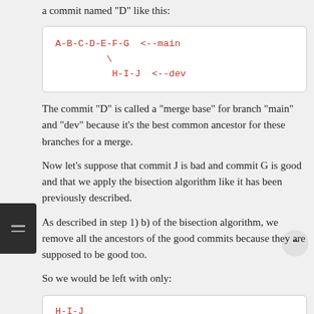a commit named "D" like this:
[Figure (other): Code block showing git branch diagram: A-B-C-D-E-F-G <--main with a backslash branch to H-I-J <--dev]
The commit "D" is called a "merge base" for branch "main" and "dev" because it's the best common ancestor for these branches for a merge.
Now let's suppose that commit J is bad and commit G is good and that we apply the bisection algorithm like it has been previously described.
As described in step 1) b) of the bisection algorithm, we remove all the ancestors of the good commits because they are supposed to be good too.
So we would be left with only:
[Figure (other): Code block showing: H-I-J]